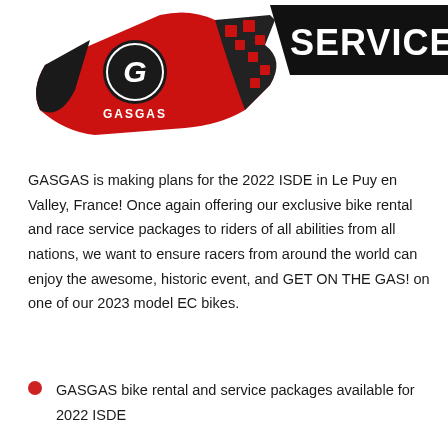[Figure (logo): GASGAS SERVICE logo — red handlebar/grip graphic with GASGAS branding and 'SERVICE' text in bold white on black background]
GASGAS is making plans for the 2022 ISDE in Le Puy en Valley, France! Once again offering our exclusive bike rental and race service packages to riders of all abilities from all nations, we want to ensure racers from around the world can enjoy the awesome, historic event, and GET ON THE GAS! on one of our 2023 model EC bikes.
GASGAS bike rental and service packages available for 2022 ISDE